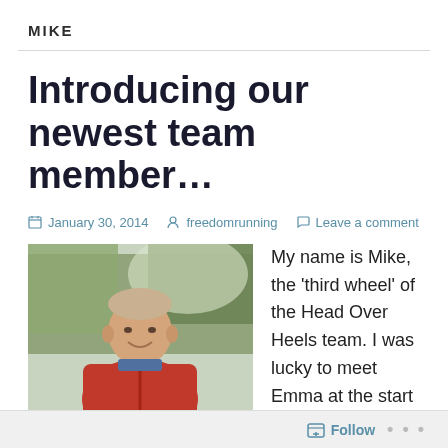MIKE
Introducing our newest team member…
January 30, 2014   freedomrunning   Leave a comment
[Figure (photo): Photo of a man named Mike wearing a red jacket, outdoors with trees in background]
My name is Mike, the 'third wheel' of the Head Over Heels team. I was lucky to meet Emma at the start of last summer